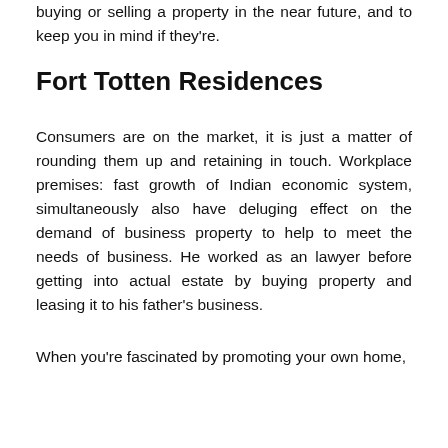buying or selling a property in the near future, and to keep you in mind if they're.
Fort Totten Residences
Consumers are on the market, it is just a matter of rounding them up and retaining in touch. Workplace premises: fast growth of Indian economic system, simultaneously also have deluging effect on the demand of business property to help to meet the needs of business. He worked as an lawyer before getting into actual estate by buying property and leasing it to his father's business.
When you're fascinated by promoting your own home,